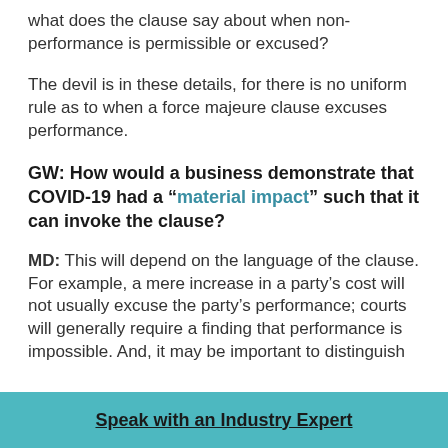what does the clause say about when non-performance is permissible or excused?
The devil is in these details, for there is no uniform rule as to when a force majeure clause excuses performance.
GW: How would a business demonstrate that COVID-19 had a “material impact” such that it can invoke the clause?
MD: This will depend on the language of the clause. For example, a mere increase in a party’s cost will not usually excuse the party’s performance; courts will generally require a finding that performance is impossible. And, it may be important to distinguish
Speak with an Industry Expert